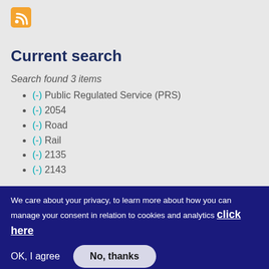[Figure (logo): RSS feed orange square icon]
Current search
Search found 3 items
(-) Public Regulated Service (PRS)
(-) 2054
(-) Road
(-) Rail
(-) 2135
(-) 2143
We care about your privacy, to learn more about how you can manage your consent in relation to cookies and analytics click here
OK, I agree
No, thanks